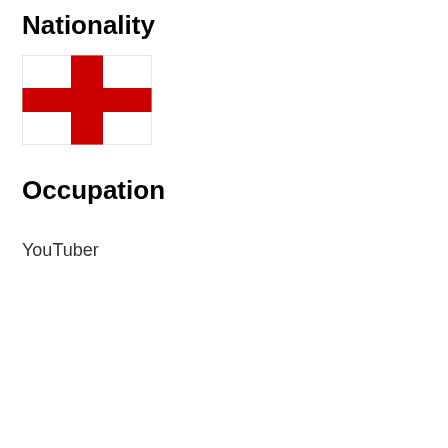Nationality
[Figure (illustration): Flag of England — white background with a red cross (St George's Cross)]
Occupation
YouTuber